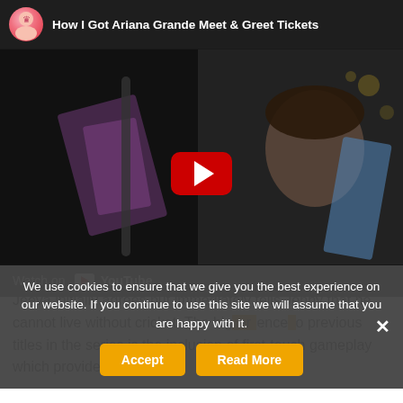[Figure (screenshot): YouTube video embed showing 'How I Got Ariana Grande Meet & Greet Tickets' with a play button overlay, Watch on YouTube bar at bottom, and a cookie consent banner overlaid on top of the lower portion.]
We use cookies to ensure that we give you the best experience on our website. If you continue to use this site we will assume that you are happy with it.
Jeeva initially agrees but immediately tells Jenny that he cannot live without cricket. The big ger [...] o previous titles in the series is the inclusion of first-touch gameplay which provides gamers